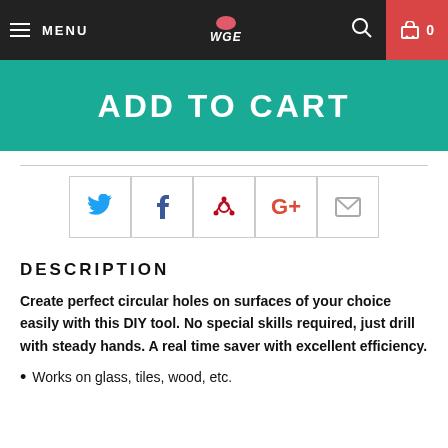MENU | WGE logo | search | cart 0
ADD TO CART
[Figure (infographic): Social sharing buttons: Twitter, Facebook, Pinterest, Google+, Email]
DESCRIPTION
Create perfect circular holes on surfaces of your choice easily with this DIY tool. No special skills required, just drill with steady hands. A real time saver with excellent efficiency.
Works on glass, tiles, wood, etc.